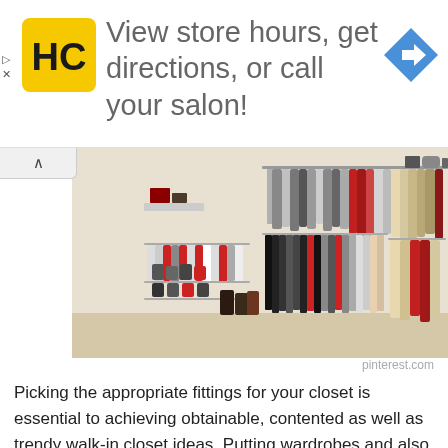[Figure (infographic): Ad banner with HC logo (black H and C letters on yellow background square), text 'View store hours, get directions, or call your salon!', and a blue diamond navigation arrow icon on the right.]
[Figure (photo): A well-organized walk-in closet with multiple clothing rods holding shirts, pants, dresses in various colors (red, grey, black, beige). Shoe shelves with multiple pairs of shoes and boots on the floor. Metal wire shelving system mounted on white walls.]
pinterest.com
Picking the appropriate fittings for your closet is essential to achieving obtainable, contented as well as trendy walk-in closet ideas. Putting wardrobes and also closets won't be sufficient. You need to